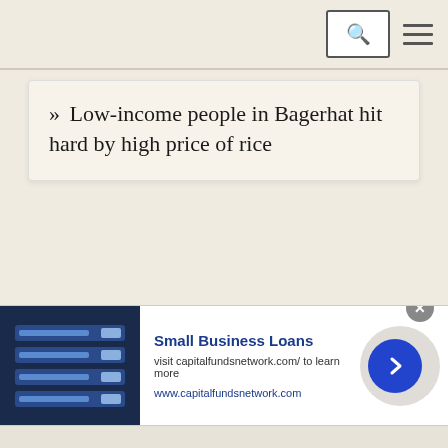» Low-income people in Bagerhat hit hard by high price of rice
[Figure (screenshot): Advertisement banner for Small Business Loans from capitalfundsnetwork.com, with a dark blue image of a loan application form on the left, ad text in the center, and a blue circular next arrow button on the right. A gray close button (×) appears at the top right of the banner.]